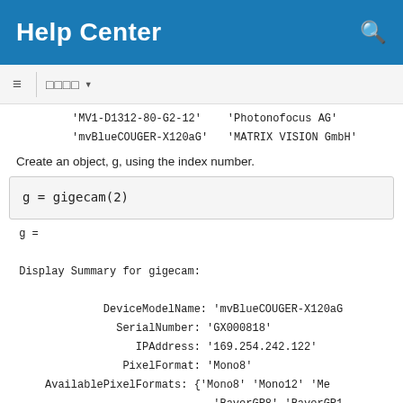Help Center
'MV1-D1312-80-G2-12'    'Photonofocus AG'
'mvBlueCOUGER-X120aG'   'MATRIX VISION GmbH'
Create an object, g, using the index number.
g = gigecam(2)
g =

Display Summary for gigecam:

            DeviceModelName: 'mvBlueCOUGER-X120aG
              SerialNumber: 'GX000818'
                 IPAddress: '169.254.242.122'
               PixelFormat: 'Mono8'
    AvailablePixelFormats: {'Mono8' 'Mono12' 'Me
                             'BayerGR8' 'BayerGR1
                             'YUV422Packed' 'YUV4